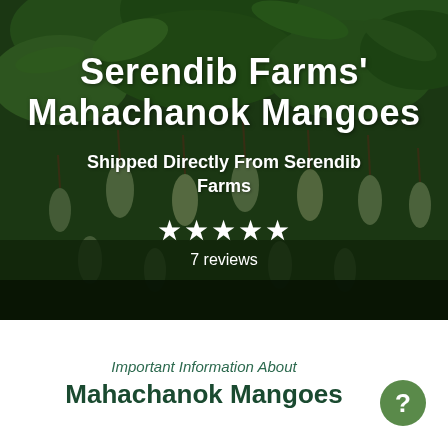[Figure (photo): Background photo of a mango tree with hanging green mangoes and lush green foliage, with a dark overlay]
Serendib Farms' Mahachanok Mangoes
Shipped Directly From Serendib Farms
★★★★★ 7 reviews
Important Information About Mahachanok Mangoes